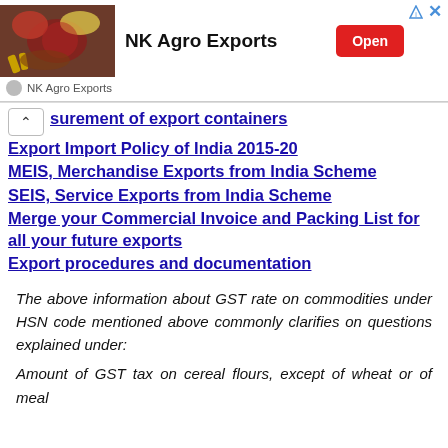[Figure (infographic): Advertisement banner for NK Agro Exports with a food/spice image, company name, and Open button]
surement of export containers
Export Import Policy of India 2015-20
MEIS, Merchandise Exports from India Scheme
SEIS, Service Exports from India Scheme
Merge your Commercial Invoice and Packing List for all your future exports
Export procedures and documentation
The above information about GST rate on commodities under HSN code mentioned above commonly clarifies on questions explained under:
Amount of GST tax on cereal flours, except of wheat or of meal